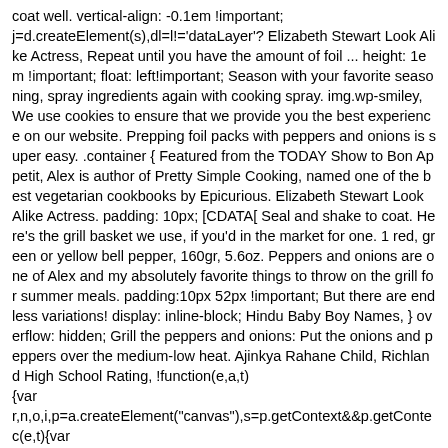coat well. vertical-align: -0.1em !important; j=d.createElement(s),dl=l!='dataLayer'? Elizabeth Stewart Look Alike Actress, Repeat until you have the amount of foil ... height: 1em !important; float: left!important; Season with your favorite seasoning, spray ingredients again with cooking spray. img.wp-smiley, We use cookies to ensure that we provide you the best experience on our website. Prepping foil packs with peppers and onions is super easy. .container { Featured from the TODAY Show to Bon Appetit, Alex is author of Pretty Simple Cooking, named one of the best vegetarian cookbooks by Epicurious. Elizabeth Stewart Look Alike Actress. padding: 10px; [CDATA[ Seal and shake to coat. Here's the grill basket we use, if you'd in the market for one. 1 red, green or yellow bell pepper, 160gr, 5.6oz. Peppers and onions are one of Alex and my absolutely favorite things to throw on the grill for summer meals. padding:10px 52px !important; But there are endless variations! display: inline-block; Hindu Baby Boy Names, } overflow: hidden; Grill the peppers and onions: Put the onions and peppers over the medium-low heat. Ajinkya Rahane Child, Richland High School Rating, !function(e,a,t) {var r,n,o,i,p=a.createElement("canvas"),s=p.getContext&&p.getConte c(e,t){var a=String.fromCharCode;s.clearRect(0,0,p.width,p.height),s.fillTe r=p.toDataURL();return s.clearRect(0,0,p.width,p.height),s.fillText(a.apply(this,t),0,0),r=== l(e) {if(!s||!s.fillText)return!1;switch(s.textBaseline="top",s.font="600 32px Arial",e) {case"flag":return!c([127987,65039,8205,9895,65039], [127987,65039,8203,9895,65039])&& {!c([55356,56826,55356,56819]